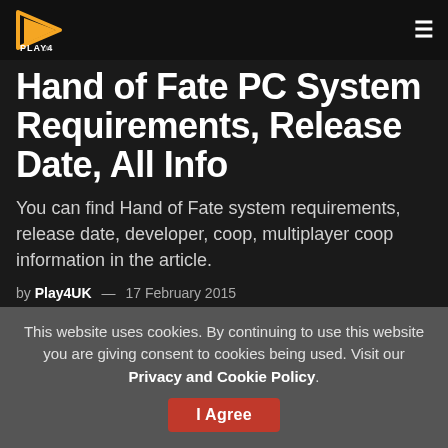PLAY4UK
Hand of Fate PC System Requirements, Release Date, All Info
You can find Hand of Fate system requirements, release date, developer, coop, multiplayer coop information in the article.
by Play4UK — 17 February 2015
[Figure (logo): Google News | SUBSCRIBE button]
[Figure (infographic): Social share buttons: Facebook, Twitter, LinkedIn]
This website uses cookies. By continuing to use this website you are giving consent to cookies being used. Visit our Privacy and Cookie Policy.